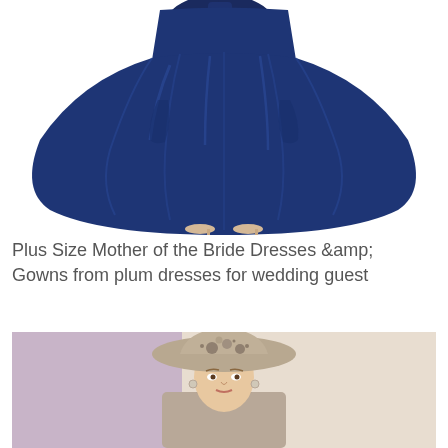[Figure (photo): A woman wearing a navy blue ball gown / formal dress with a bow, photographed from the waist down showing the voluminous satin skirt, with nude heels visible at the bottom. White background.]
Plus Size Mother of the Bride Dresses &amp; Gowns from plum dresses for wedding guest
[Figure (photo): A woman wearing an elegant wide-brimmed hat with floral embellishments. She is dressed formally in a taupe/beige outfit. The background shows a split: lavender/mauve on the left and beige/cream on the right.]